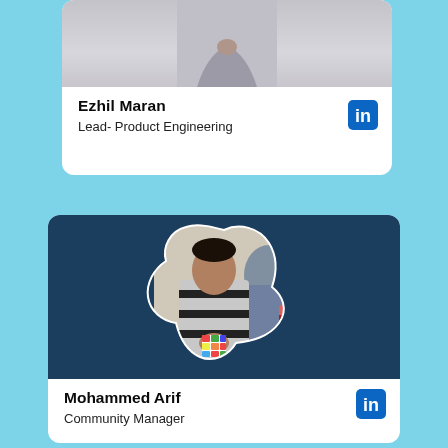[Figure (photo): Photo of Ezhil Maran (partially visible, cropped at top)]
Ezhil Maran
Lead- Product Engineering
[Figure (logo): LinkedIn icon for Ezhil Maran]
[Figure (photo): Photo of Mohammed Arif holding a Rubik's cube in an office setting, displayed inside a blob/flower shape on dark navy background]
Mohammed Arif
Community Manager
[Figure (logo): LinkedIn icon for Mohammed Arif]